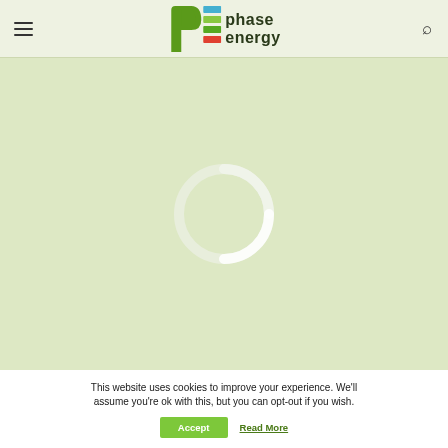[Figure (logo): Phase Energy logo with stylized 'PE' icon featuring blue, green, and red horizontal bars next to lowercase 'phase energy' text in dark gray]
[Figure (screenshot): Light green background content area with a white loading spinner circle in the center]
This website uses cookies to improve your experience. We'll assume you're ok with this, but you can opt-out if you wish.
Accept   Read More